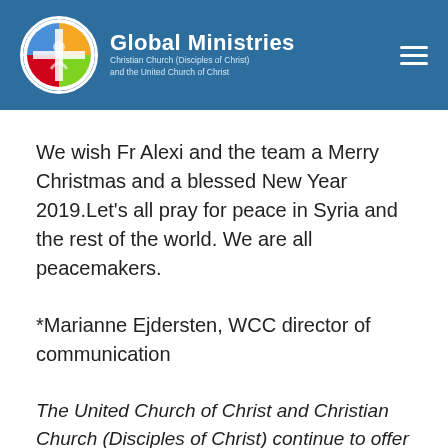Global Ministries — Christian Church (Disciples of Christ) and the United Church of Christ
We wish Fr Alexi and the team a Merry Christmas and a blessed New Year 2019.Let's all pray for peace in Syria and the rest of the world. We are all peacemakers.
*Marianne Ejdersten, WCC director of communication
The United Church of Christ and Christian Church (Disciples of Christ) continue to offer support for